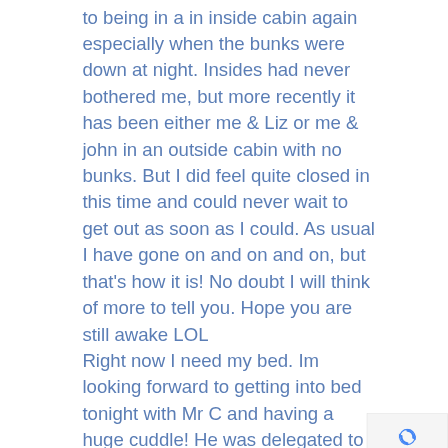to being in a in inside cabin again especially when the bunks were down at night. Insides had never bothered me, but more recently it has been either me & Liz or me & john in an outside cabin with no bunks. But I did feel quite closed in this time and could never wait to get out as soon as I could. As usual I have gone on and on and on, but that's how it is! No doubt I will think of more to tell you. Hope you are still awake LOL
Right now I need my bed. Im looking forward to getting into bed tonight with Mr C and having a huge cuddle! He was delegated to the upper bunk as Lizy pulled rank with her Gold card bless him.
I might pluck up courage to step on the scales in the morning. Hope I haven't gained too much after loosing almost 2
[Figure (other): Privacy & Terms reCAPTCHA badge/icon in bottom right corner]